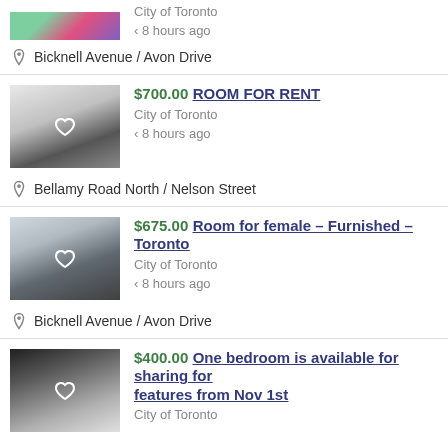[Figure (photo): Partial top image of a colorful room listing with green, pink, purple tones]
City of Toronto
< 8 hours ago
Bicknell Avenue / Avon Drive
[Figure (photo): Kitchen interior with grey cabinets and stove]
$700.00 ROOM FOR RENT
City of Toronto
< 8 hours ago
Bellamy Road North / Nelson Street
[Figure (photo): Bedroom with bed and floral bedding]
$675.00 Room for female - Furnished - Toronto
City of Toronto
< 8 hours ago
Bicknell Avenue / Avon Drive
[Figure (photo): Partial bathroom/kitchen image, dark tones]
$400.00 One bedroom is available for sharing for
features from Nov 1st
City of Toronto